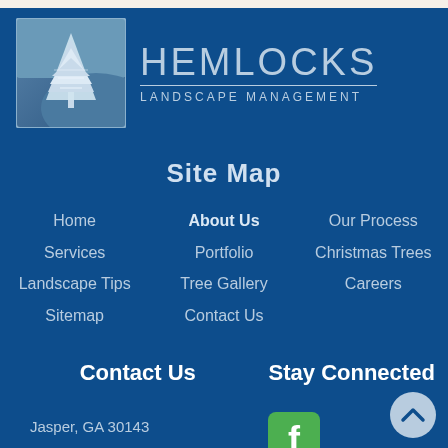[Figure (logo): Hemlocks Landscape Management logo: a snow-covered evergreen tree in a square frame, with company name HEMLOCKS and subtitle LANDSCAPE MANAGEMENT to the right]
Site Map
Home
About Us
Our Process
Services
Portfolio
Christmas Trees
Landscape Tips
Tree Gallery
Careers
Sitemap
Contact Us
Contact Us
Stay Connected
Jasper, GA 30143
[Figure (logo): Facebook logo icon in green square]
[Figure (other): Scroll-to-top button: grey circle with upward chevron arrow]